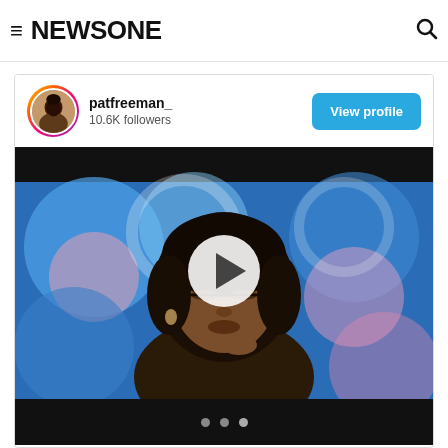NEWSONE
[Figure (screenshot): Instagram embed card showing patfreeman_ profile with 10.6K followers, a View profile button, and a video thumbnail of a woman with eyes closed in front of a blurred colorful background with a play button overlay. Below the video are three navigation dots.]